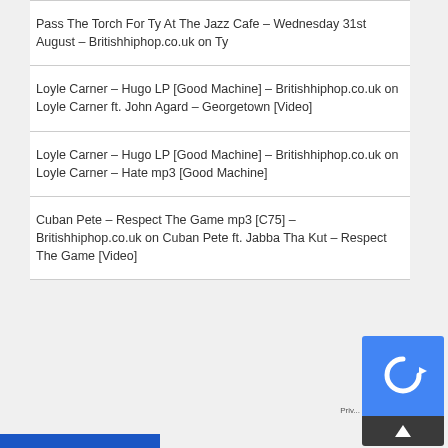Pass The Torch For Ty At The Jazz Cafe – Wednesday 31st August – Britishhiphop.co.uk on Ty
Loyle Carner – Hugo LP [Good Machine] – Britishhiphop.co.uk on Loyle Carner ft. John Agard – Georgetown [Video]
Loyle Carner – Hugo LP [Good Machine] – Britishhiphop.co.uk on Loyle Carner – Hate mp3 [Good Machine]
Cuban Pete – Respect The Game mp3 [C75] – Britishhiphop.co.uk on Cuban Pete ft. Jabba Tha Kut – Respect The Game [Video]